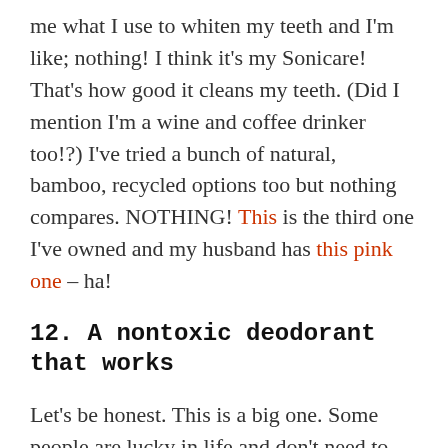me what I use to whiten my teeth and I'm like; nothing! I think it's my Sonicare! That's how good it cleans my teeth. (Did I mention I'm a wine and coffee drinker too!?) I've tried a bunch of natural, bamboo, recycled options too but nothing compares. NOTHING! This is the third one I've owned and my husband has this pink one – ha!
12. A nontoxic deodorant that works
Let's be honest. This is a big one. Some people are lucky in life and don't need to wear deodorant. Other people are living in ignorant bliss with dry pits and aluminum clogged pores. But for those of us who know and are trying to make healthy choices